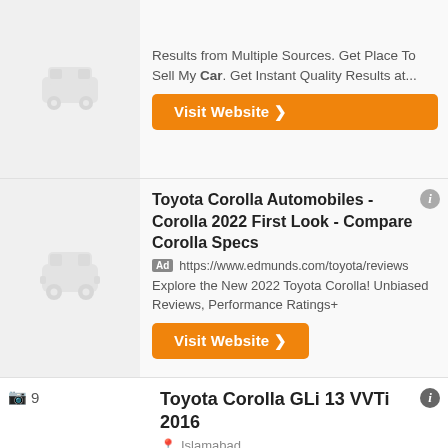Results from Multiple Sources. Get Place To Sell My Car. Get Instant Quality Results at...
Visit Website
Toyota Corolla Automobiles - Corolla 2022 First Look - Compare Corolla Specs
Ad https://www.edmunds.com/toyota/reviews
Explore the New 2022 Toyota Corolla! Unbiased Reviews, Performance Ratings+
Visit Website
Toyota Corolla GLi 13 VVTi 2016
Islamabad
PKR 28.7 lakhs
9 days ago
View car
140,000 Km
2016 Year
Toyota Corolla GLi 13 VVTi 2016